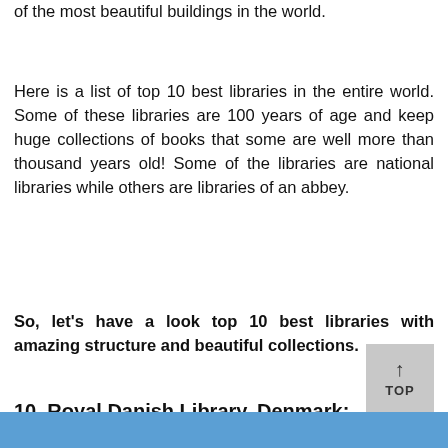of the most beautiful buildings in the world.
Here is a list of top 10 best libraries in the entire world. Some of these libraries are 100 years of age and keep huge collections of books that some are well more than thousand years old! Some of the libraries are national libraries while others are libraries of an abbey.
So, let’s have a look top 10 best libraries with amazing structure and beautiful collections.
10. Royal Danish Library, Denmark:
[Figure (photo): Blue water/sky image strip at the bottom of the page]